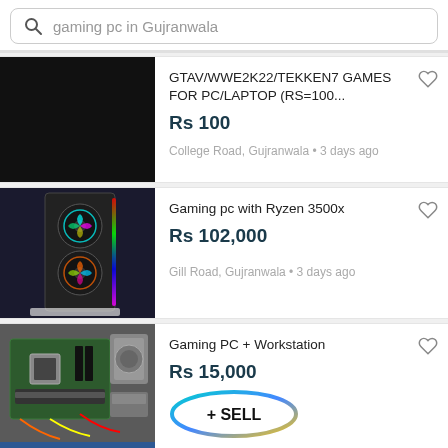gaming pc in Gujranwala
GTAV/WWE2K22/TEKKEN7 GAMES FOR PC/LAPTOP (RS=100... | Rs 100 | College Road, Gujranwala • 3 days ago
Gaming pc with Ryzen 3500x | Rs 102,000 | Gill Road, Gujranwala • 3 days ago
Gaming PC + Workstation | Rs 15,000 | Otter.., Gujranwala • 5 days ago